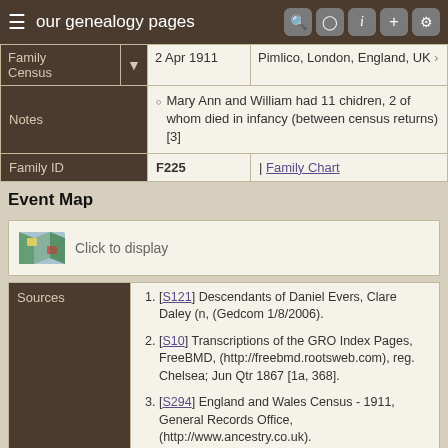our genealogy pages
| Family Census | 2 Apr 1911 | Pimlico, London, England, UK |
| --- | --- | --- |
| Notes | Mary Ann and William had 11 chidren, 2 of whom died in infancy (between census returns) [3] |
| Family ID | F225 | | Family Chart |
Event Map
Click to display
| Sources |  |
| --- | --- |
| 1. | [S121] Descendants of Daniel Evers, Clare Daley (n, (Gedcom 1/8/2006). |
| 2. | [S10] Transcriptions of the GRO Index Pages, FreeBMD, (http://freebmd.rootsweb.com), reg. Chelsea; Jun Qtr 1867 [1a, 368]. |
| 3. | [S294] England and Wales Census - 1911, General Records Office, (http://www.ancestry.co.uk). |
Switch to standard site